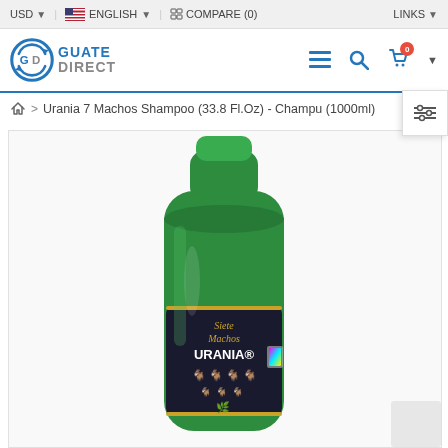USD  |  ENGLISH  |  COMPARE (0)  |  LINKS
[Figure (logo): Guate Direct logo with GD circular icon in blue and grey text GUATE DIRECT]
Breadcrumb navigation: Home > Urania 7 Machos Shampoo (33.8 Fl.Oz) - Champu (1000ml)
[Figure (photo): Green shampoo bottle with dark label reading Siete Machos URANIA with goat imagery, 1000ml product photo on white background]